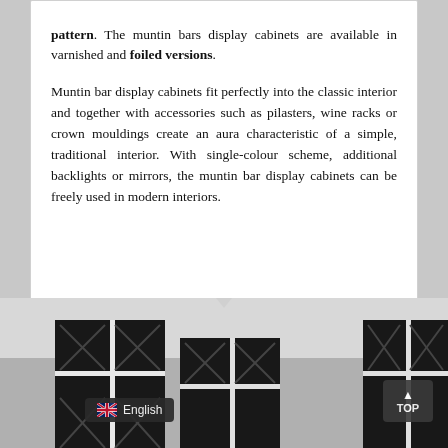pattern. The muntin bars display cabinets are available in varnished and foiled versions. Muntin bar display cabinets fit perfectly into the classic interior and together with accessories such as pilasters, wine racks or crown mouldings create an aura characteristic of a simple, traditional interior. With single-colour scheme, additional backlights or mirrors, the muntin bar display cabinets can be freely used in modern interiors.
[Figure (photo): Photo of dark muntin bar display cabinets with white cross-pattern glass doors, shown against a light gray wall with ceiling molding. Partially cropped at the bottom of the page.]